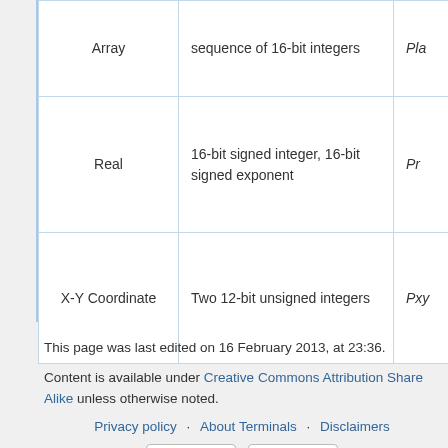|  | Description | Type |
| --- | --- | --- |
| Array | sequence of 16-bit integers | Pla |
| Real | 16-bit signed integer, 16-bit signed exponent | Pr |
| X-Y Coordinate | Two 12-bit unsigned integers | Pxy |
This page was last edited on 16 February 2013, at 23:36.
Content is available under Creative Commons Attribution Share Alike unless otherwise noted.
Privacy policy | About Terminals | Disclaimers